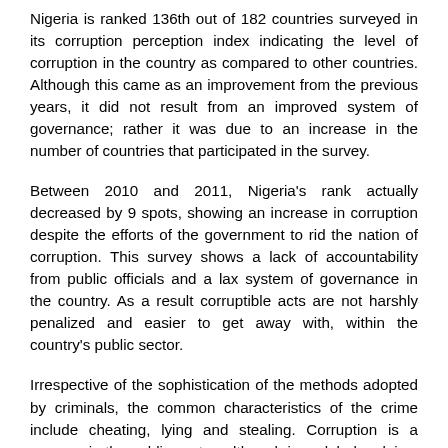Nigeria is ranked 136th out of 182 countries surveyed in its corruption perception index indicating the level of corruption in the country as compared to other countries. Although this came as an improvement from the previous years, it did not result from an improved system of governance; rather it was due to an increase in the number of countries that participated in the survey.
Between 2010 and 2011, Nigeria's rank actually decreased by 9 spots, showing an increase in corruption despite the efforts of the government to rid the nation of corruption. This survey shows a lack of accountability from public officials and a lax system of governance in the country. As a result corruptible acts are not harshly penalized and easier to get away with, within the country's public sector.
Irrespective of the sophistication of the methods adopted by criminals, the common characteristics of the crime include cheating, lying and stealing. Corruption is a menace in the public sector, although is a global malaise, the extent of its reach in the public sector was tragically stupendous. All indicators showed that the spread of this cancer had become frightening.